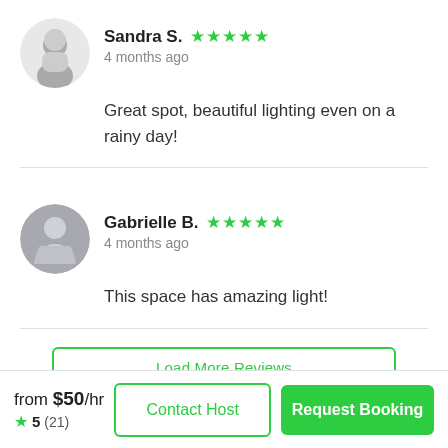Sandra S. ★★★★★ 4 months ago
Great spot, beautiful lighting even on a rainy day!
Gabrielle B. ★★★★★ 4 months ago
This space has amazing light!
Load More Reviews
from $50/hr ★ 5 (21)
Contact Host
Request Booking